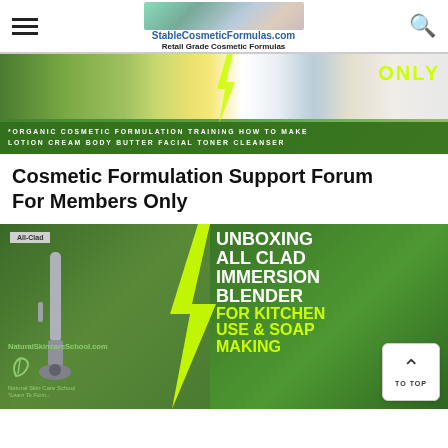StableCosmeticFormulas.com - Retail Grade Cosmetic Formulas
[Figure (screenshot): Banner image showing cosmetic products with yellow lightning bolt and ONLY text overlay, with green caption bar reading: *ORGANIC COSMETIC FORMULATION TRAINING HOW TO MAKE LOTION CREAM BODY BUTTER FACIAL TONER CLEANSER]
*ORGANIC COSMETIC FORMULATION TRAINING HOW TO MAKE LOTION CREAM BODY BUTTER FACIAL TONER CLEANSER
Cosmetic Formulation Support Forum For Members Only
[Figure (screenshot): Green banner showing All-Clad immersion blender product with yellow lightning bolt and text: UNBOXING ALL CLAD IMMERSION BLENDER FOR KITCHEN USE & SOAP MAKING, with NaturalSkincareSchool.com watermark and TO TOP button]